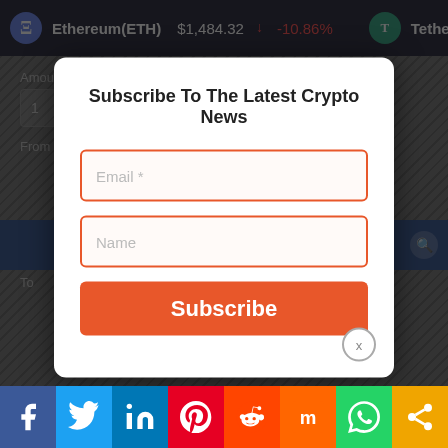Ethereum(ETH) $1,484.32 ↓ -10.86% | Tether(USDT) $1.00 ↑
Amount
1
From
To
Subscribe To The Latest Crypto News
Email *
Name
Subscribe
BUSINESS CARDS
MARKET RESEARCH
f | Twitter | in | Pinterest | Reddit | Mix | WhatsApp | Share